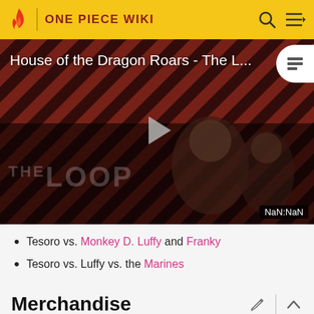ONE PIECE WIKI
[Figure (screenshot): Video thumbnail for 'House of the Dragon Roars - The L...' with a dark diagonal striped red/black background, a play button in the center, 'THE LOOP' text watermark, and NaN:NaN timestamp badge in corner]
Tesoro vs. Monkey D. Luffy and Franky
Tesoro vs. Luffy vs. the Marines
Merchandise